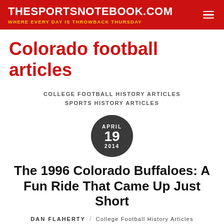THESPORTSNOTEBOOK.COM / WHERE EVERY DAY IS THROWBACK THURSDAY
Colorado football articles
COLLEGE FOOTBALL HISTORY ARTICLES
SPORTS HISTORY ARTICLES
[Figure (other): Dark circle date badge showing APRIL 19 2014]
The 1996 Colorado Buffaloes: A Fun Ride That Came Up Just Short
DAN FLAHERTY / College Football History Articles